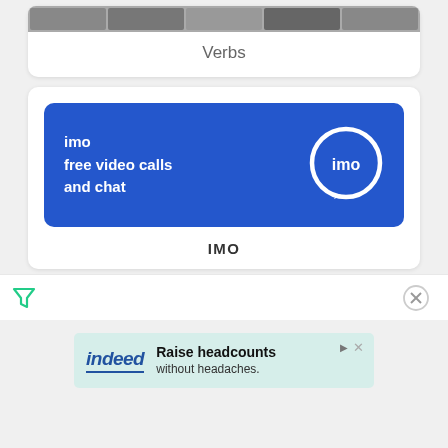[Figure (screenshot): Partial top card showing cropped image strip of people photos with label 'Verbs' below]
Verbs
[Figure (screenshot): IMO app advertisement banner with blue background, white text 'imo free video calls and chat' and imo speech bubble logo on the right]
IMO
[Figure (infographic): Bottom navigation bar with filter/funnel icon on the left and X close icon on the right]
[Figure (screenshot): Indeed advertisement banner: 'Raise headcounts without headaches.' with indeed logo on light teal background]